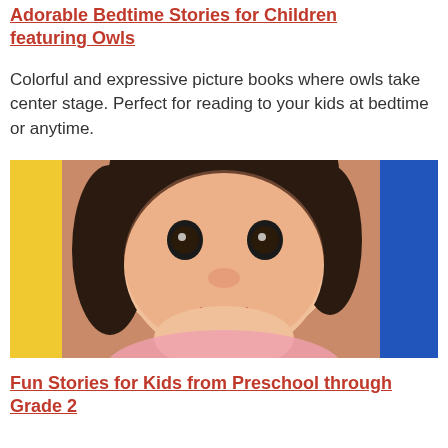Adorable Bedtime Stories for Children featuring Owls
Colorful and expressive picture books where owls take center stage. Perfect for reading to your kids at bedtime or anytime.
[Figure (photo): Close-up photo of a young Asian child smiling, with short dark hair, colorful background with yellow and blue elements.]
Fun Stories for Kids from Preschool through Grade 2